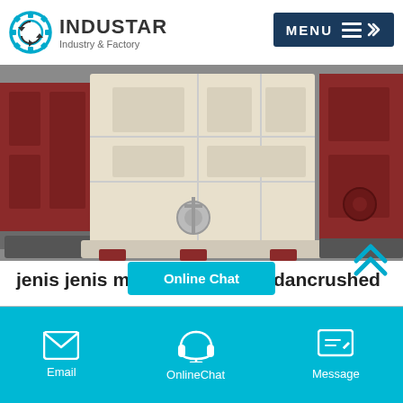INDUSTAR Industry & Factory
[Figure (photo): Industrial crusher machine equipment in a factory setting, showing white/cream colored heavy machinery with red side panels on a concrete floor]
jenis jenis minuman squash dancrushed
jenis jenis minuman squash dancrushed Home >>jenis jenis minuman squash dancrushed Mobile ConeCrusherThe Mobile ConeCrusher(plants) has excellent mobility, it can move to anywhere with the change of raw material places or the…
Online Chat | Email | OnlineChat | Message